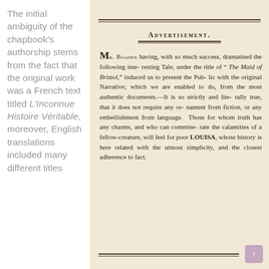The initial ambiguity of the chapbook's authorship stems from the fact that the original work was a French text titled L'Inconnue Histoire Véritable, moreover, English translations included many different titles
ADVERTISEMENT.
Mr. Boaden having, with so much success, dramatised the following interesting Tale, under the title of “ The Maid of Bristol,” induced us to present the Public with the original Narrative; which we are enabled to do, from the most authentic documents.—It is so strictly and literally true, that it does not require any ornament from fiction, or any embellishment from language. Those for whom truth has any charms, and who can commiserate the calamities of a fellow-creature, will feel for poor LOUISA, whose history is here related with the utmost simplicity, and the closest adherence to fact.